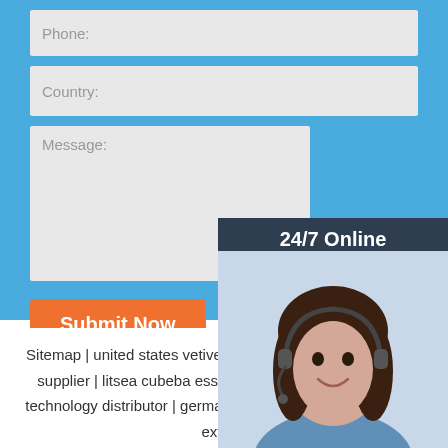Phone:
Country:
Message:
Submit Now
[Figure (photo): Customer service representative with headset, smiling, with '24/7 Online' header and 'Click here for free chat!' and 'QUOTATION' button]
Sitemap | united states vetiver essential oil postpartum care supplier | litsea cubeba essential oil excellent production technology distributor | germany best after-sales sand worm extract